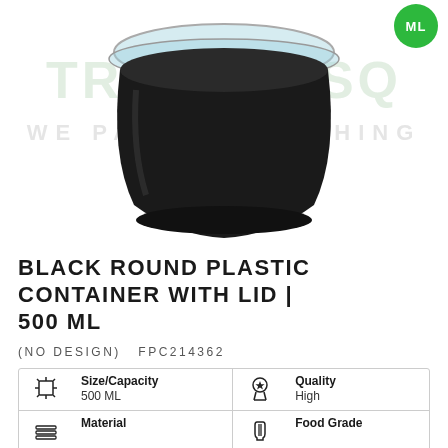[Figure (photo): Black round plastic container with clear lid, shown from a slightly elevated angle. Product photo on white background with PIRSQ watermark and 'WE PACK EVERYTHING' text overlay.]
BLACK ROUND PLASTIC CONTAINER WITH LID | 500 ML
(NO DESIGN)   FPC214362
| Size/Capacity 500 ML | Quality High |
| Material | Food Grade |